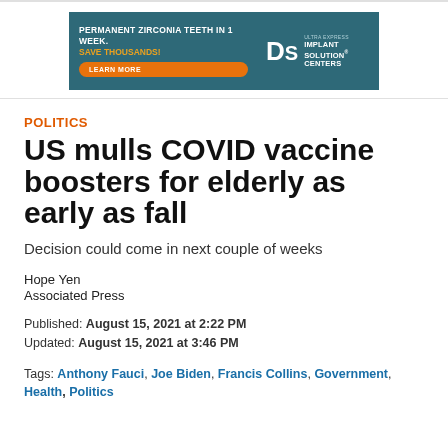[Figure (infographic): Advertisement banner for DS Ultra Express Implant Solution Centers. Dark teal background. Text: 'PERMANENT ZIRCONIA TEETH IN 1 WEEK. SAVE THOUSANDS!' with orange 'LEARN MORE' button and DS logo on right side.]
POLITICS
US mulls COVID vaccine boosters for elderly as early as fall
Decision could come in next couple of weeks
Hope Yen
Associated Press
Published: August 15, 2021 at 2:22 PM
Updated: August 15, 2021 at 3:46 PM
Tags: Anthony Fauci, Joe Biden, Francis Collins, Government, Health, Politics